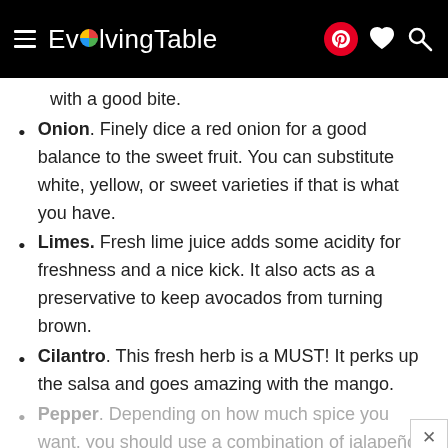EvolvingTable
with a good bite.
Onion. Finely dice a red onion for a good balance to the sweet fruit. You can substitute white, yellow, or sweet varieties if that is what you have.
Limes. Fresh lime juice adds some acidity for freshness and a nice kick. It also acts as a preservative to keep avocados from turning brown.
Cilantro. This fresh herb is a MUST! It perks up the salsa and goes amazing with the mango.
Pepper. Depending on how much spice you want, you should use a combination of jalapeño